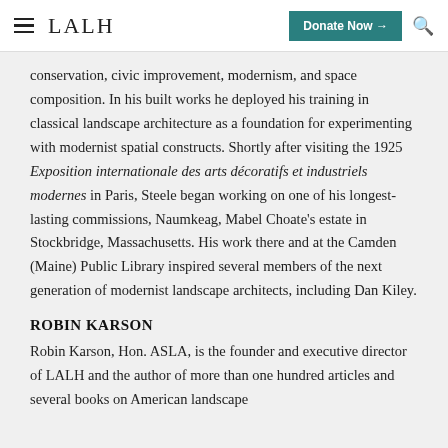LALH | Donate Now | Search
conservation, civic improvement, modernism, and space composition. In his built works he deployed his training in classical landscape architecture as a foundation for experimenting with modernist spatial constructs. Shortly after visiting the 1925 Exposition internationale des arts décoratifs et industriels modernes in Paris, Steele began working on one of his longest-lasting commissions, Naumkeag, Mabel Choate's estate in Stockbridge, Massachusetts. His work there and at the Camden (Maine) Public Library inspired several members of the next generation of modernist landscape architects, including Dan Kiley.
ROBIN KARSON
Robin Karson, Hon. ASLA, is the founder and executive director of LALH and the author of more than one hundred articles and several books on American landscape